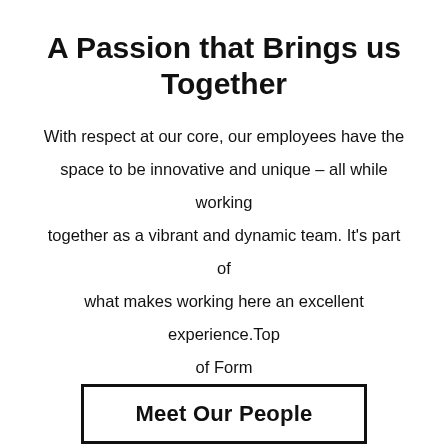A Passion that Brings us Together
With respect at our core, our employees have the space to be innovative and unique – all while working together as a vibrant and dynamic team. It's part of what makes working here an excellent experience.Top of Form
Meet Our People